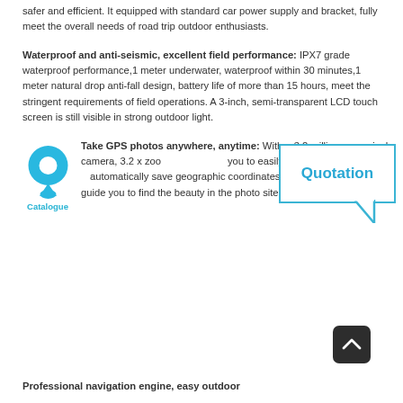safer and efficient. It equipped with standard car power supply and bracket, fully meet the overall needs of road trip outdoor enthusiasts.
Waterproof and anti-seismic, excellent field performance: IPX7 grade waterproof performance,1 meter underwater, waterproof within 30 minutes,1 meter natural drop anti-fall design, battery life of more than 15 hours, meet the stringent requirements of field operations. A 3-inch, semi-transparent LCD touch screen is still visible in strong outdoor light.
Take GPS photos anywhere, anytime: With a 3.2 million megapixel camera, 3.2 x zoom, you to easily record the moment, automatically save geographic coordinates, just touch navigation, guide you to find the beauty in the photo site immediately.
[Figure (illustration): Blue GPS map pin / location marker icon with 'Catalogue' text below in blue]
[Figure (other): Speech bubble / quotation callout box with border saying 'Quotation' in blue text]
[Figure (other): Dark rounded square scroll-to-top button with upward chevron arrow]
Professional navigation engine, easy outdoor